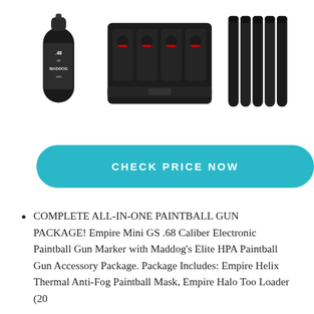[Figure (photo): Three paintball product images side by side: left - a black Maddog 48 CO2 tank/canister, center - a black tactical paintball harness/pod pack with multiple pouches, right - a set of black paintball tubes/pods standing upright]
[Figure (other): Teal/cyan rounded rectangle button with white uppercase bold text: CHECK PRICE NOW]
COMPLETE ALL-IN-ONE PAINTBALL GUN PACKAGE! Empire Mini GS .68 Caliber Electronic Paintball Gun Marker with Maddog's Elite HPA Paintball Gun Accessory Package. Package Includes: Empire Helix Thermal Anti-Fog Paintball Mask, Empire Halo Too Loader (20